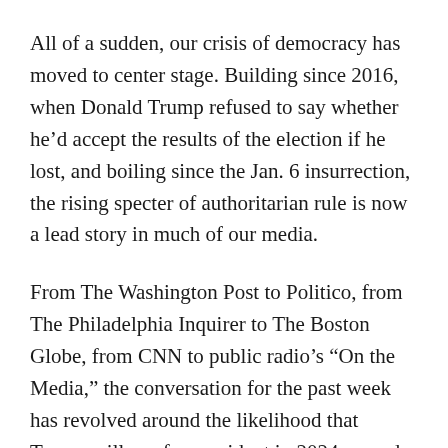All of a sudden, our crisis of democracy has moved to center stage. Building since 2016, when Donald Trump refused to say whether he’d accept the results of the election if he lost, and boiling since the Jan. 6 insurrection, the rising specter of authoritarian rule is now a lead story in much of our media.
From The Washington Post to Politico, from The Philadelphia Inquirer to The Boston Globe, from CNN to public radio’s “On the Media,” the conversation for the past week has revolved around the likelihood that Trump will run for president in 2024 — and the very real possibility that Republican functionaries at the state level and in Congress will reinstall him in the White